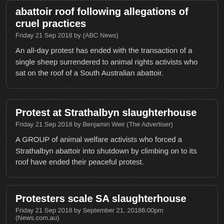abattoir roof following allegations of cruel practices
Friday 21 Sep 2018 by (ABC News)
An all-day protest has ended with the transaction of a single sheep surrendered to animal rights activists who sat on the roof of a South Australian abattoir.
Protest at Strathalbyn slaughterhouse
Friday 21 Sep 2018 by Benjamin Weir (The Advertiser)
A GROUP of animal welfare activists who forced a Strathalbyn abattoir into shutdown by climbing on to its roof have ended their peaceful protest.
Protesters scale SA slaughterhouse
Friday 21 Sep 2018 by September 21, 20186:00pm (News.com.au)